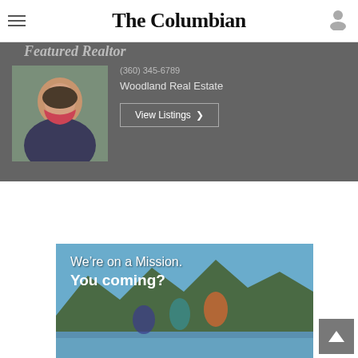The Columbian
[Figure (photo): Featured Realtor banner with a woman's photo, phone number partially visible, Woodland Real Estate company name, and View Listings button on dark gray background]
[Figure (photo): Advertisement banner reading 'We're on a Mission. You coming?' with people running outdoors near mountains and water]